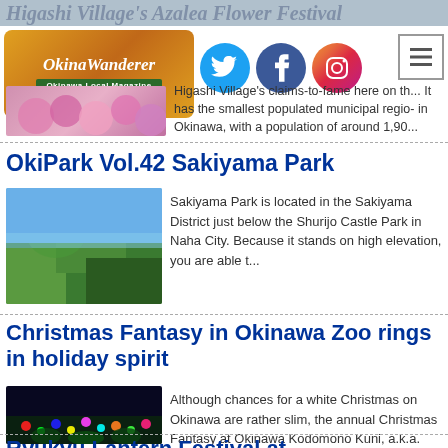Higashi Village's Azalea Flower Festival
[Figure (logo): Okinawa Wanderer logo - Okinawa Local Magazine]
[Figure (illustration): Twitter, Facebook, Instagram social media icons]
[Figure (photo): Azalea flowers thumbnail image]
Higashi Village's claims-to-fame here on th... It has the smallest populated municipal regio- in Okinawa, with a population of around 1,90...
OkiPark Vol.42 Sakiyama Park
[Figure (photo): Aerial view of Sakiyama Park with blue sky]
Sakiyama Park is located in the Sakiyama District just below the Shurijo Castle Park in Naha City. Because it stands on high elevation, you are able t...
Christmas Fantasy in Okinawa Zoo rings in holiday spirit
[Figure (photo): Christmas light display at Okinawa Zoo at night]
Although chances for a white Christmas on Okinawa are rather slim, the annual Christmas Fantasy at Okinawa Kodomono Kuni, a.k.a. Okinawa Zoo, is ready...
Ryukyu Lantern Festival at